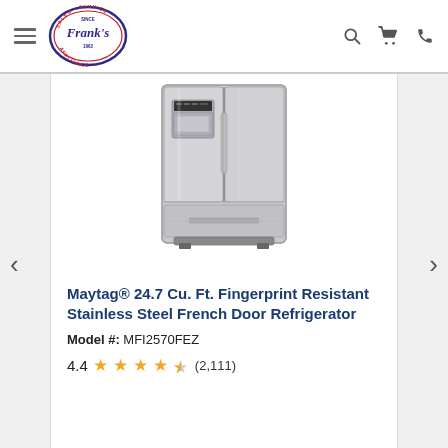Frank's Appliance - Sales Service Since 1962
[Figure (photo): Maytag French Door Refrigerator in stainless steel finish, French door style with bottom freezer drawer, ice and water dispenser on left door panel]
Maytag® 24.7 Cu. Ft. Fingerprint Resistant Stainless Steel French Door Refrigerator
Model #: MFI2570FEZ
4.4 (2,111)